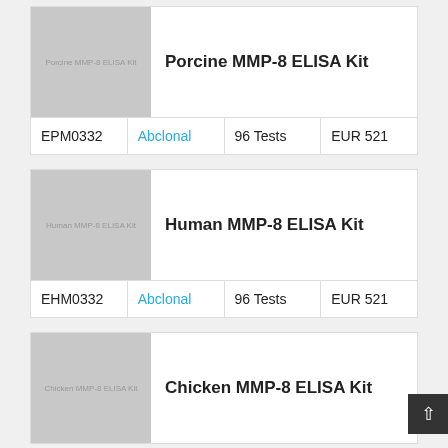[Figure (photo): Placeholder image for Porcine MMP-8 ELISA Kit with grey background and text label]
Porcine MMP-8 ELISA Kit
| ID | Supplier | Quantity | Price |
| --- | --- | --- | --- |
| EPM0332 | Abclonal | 96 Tests | EUR 521 |
[Figure (photo): Placeholder image for Human MMP-8 ELISA Kit with grey background and text label]
Human MMP-8 ELISA Kit
| ID | Supplier | Quantity | Price |
| --- | --- | --- | --- |
| EHM0332 | Abclonal | 96 Tests | EUR 521 |
[Figure (photo): Placeholder image for Chicken MMP-8 ELISA Kit with grey background and text label]
Chicken MMP-8 ELISA Kit